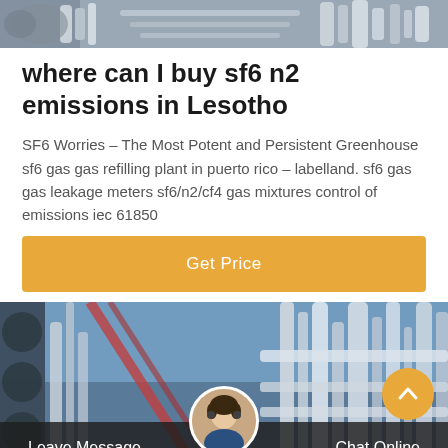[Figure (photo): Industrial pipes and equipment at top of page]
where can I buy sf6 n2 emissions in Lesotho
SF6 Worries – The Most Potent and Persistent Greenhouse sf6 gas gas refilling plant in puerto rico – labelland. sf6 gas gas leakage meters sf6/n2/cf4 gas mixtures control of emissions iec 61850
[Figure (other): Orange Get Price button]
[Figure (photo): Industrial facility with pipes and blue sky, with chat bar overlay showing Leave Message and Chat Online options and a customer service avatar]